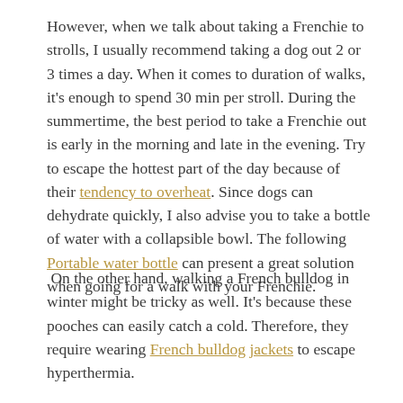However, when we talk about taking a Frenchie to strolls, I usually recommend taking a dog out 2 or 3 times a day. When it comes to duration of walks, it's enough to spend 30 min per stroll. During the summertime, the best period to take a Frenchie out is early in the morning and late in the evening. Try to escape the hottest part of the day because of their tendency to overheat. Since dogs can dehydrate quickly, I also advise you to take a bottle of water with a collapsible bowl. The following Portable water bottle can present a great solution when going for a walk with your Frenchie.
On the other hand, walking a French bulldog in winter might be tricky as well. It's because these pooches can easily catch a cold. Therefore, they require wearing French bulldog jackets to escape hyperthermia.